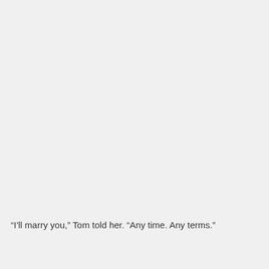“I’ll marry you,” Tom told her. “Any time. Any terms.”